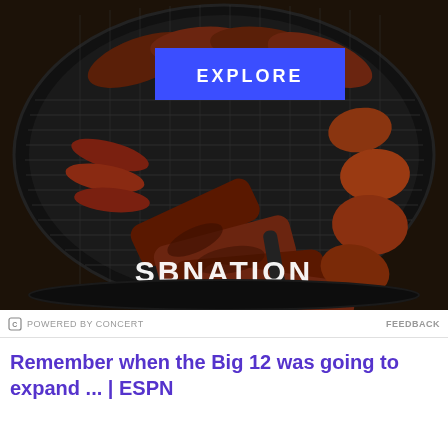[Figure (photo): Photo of a round BBQ grill with various meats including ribs, sausages, and chicken pieces arranged in a circle on dark grill grates. A blue 'EXPLORE' button overlay is in the upper center. 'SBNATION' logo watermark at the bottom center.]
POWERED BY CONCERT   FEEDBACK
Remember when the Big 12 was going to expand ... | ESPN